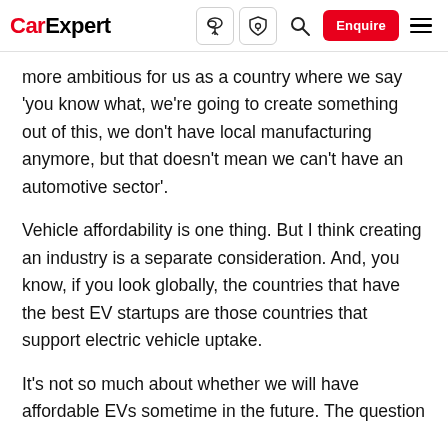CarExpert [navigation bar with icons and Enquire button]
more ambitious for us as a country where we say 'you know what, we're going to create something out of this, we don't have local manufacturing anymore, but that doesn't mean we can't have an automotive sector'.
Vehicle affordability is one thing. But I think creating an industry is a separate consideration. And, you know, if you look globally, the countries that have the best EV startups are those countries that support electric vehicle uptake.
It's not so much about whether we will have affordable EVs sometime in the future. The question